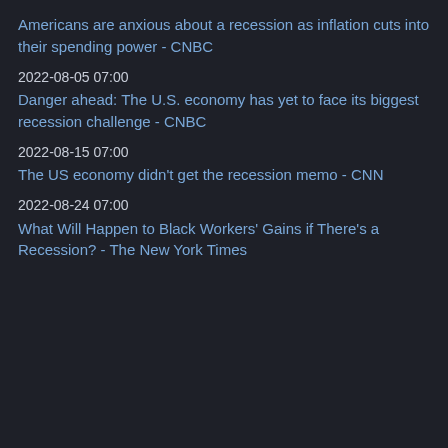Americans are anxious about a recession as inflation cuts into their spending power - CNBC
2022-08-05 07:00
Danger ahead: The U.S. economy has yet to face its biggest recession challenge - CNBC
2022-08-15 07:00
The US economy didn't get the recession memo - CNN
2022-08-24 07:00
What Will Happen to Black Workers' Gains if There's a Recession? - The New York Times